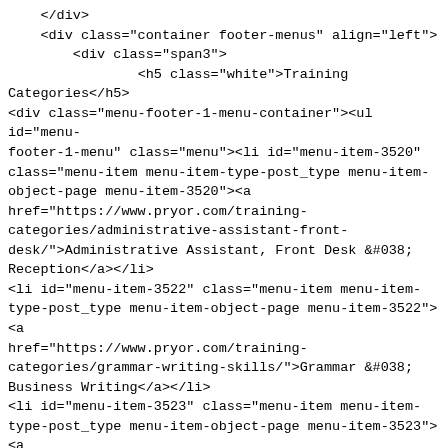</div>
    <div class="container footer-menus" align="left">
        <div class="span3">
                <h5 class="white">Training Categories</h5>
<div class="menu-footer-1-menu-container"><ul id="menu-footer-1-menu" class="menu"><li id="menu-item-3520" class="menu-item menu-item-type-post_type menu-item-object-page menu-item-3520"><a href="https://www.pryor.com/training-categories/administrative-assistant-front-desk/">Administrative Assistant, Front Desk &#038; Reception</a></li>
<li id="menu-item-3522" class="menu-item menu-item-type-post_type menu-item-object-page menu-item-3522"><a href="https://www.pryor.com/training-categories/grammar-writing-skills/">Grammar &#038; Business Writing</a></li>
<li id="menu-item-3523" class="menu-item menu-item-type-post_type menu-item-object-page menu-item-3523"><a href="https://www.pryor.com/training-categories/communication-skills/">Communication Training</a></li>
<li id="menu-item-3524" class="menu-item menu-item-type-post_type menu-item-object-page menu-item-3524"><a href="https://www.pryor.com/training-categories/computer-software/">Computer Software</a>
</li>
<li id="menu-item-3525" class="menu-item menu-item-type-post_type menu-item-object-page menu-item-3525"><a href="https://www.pryor.com/training-categories/customer-service/">Customer Service</a></li>